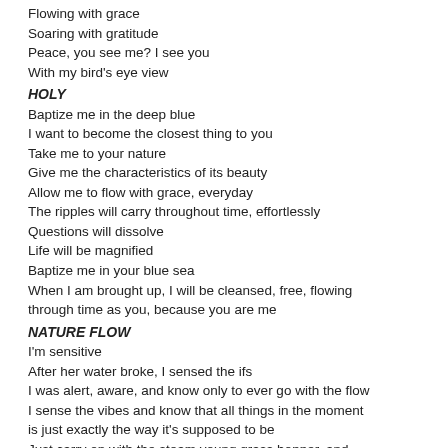Flowing with grace
Soaring with gratitude
Peace, you see me? I see you
With my bird's eye view
HOLY
Baptize me in the deep blue
I want to become the closest thing to you
Take me to your nature
Give me the characteristics of its beauty
Allow me to flow with grace, everyday
The ripples will carry throughout time, effortlessly
Questions will dissolve
Life will be magnified
Baptize me in your blue sea
When I am brought up, I will be cleansed, free, flowing through time as you, because you are me
NATURE FLOW
I'm sensitive
After her water broke, I sensed the ifs
I was alert, aware, and know only to ever go with the flow
I sense the vibes and know that all things in the moment is just exactly the way it's supposed to be
Just carry on with the steam young grass hopper, and you'll have all that you'll ever need
SPLASH BLUE